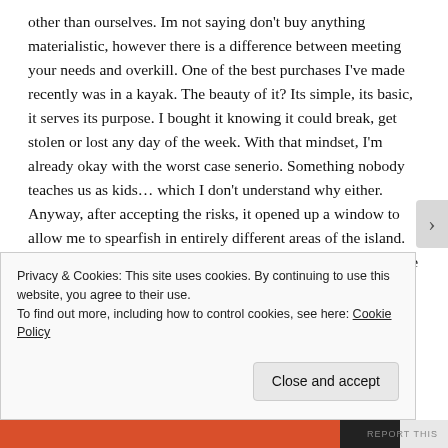other than ourselves. Im not saying don't buy anything materialistic, however there is a difference between meeting your needs and overkill. One of the best purchases I've made recently was in a kayak. The beauty of it? Its simple, its basic, it serves its purpose. I bought it knowing it could break, get stolen or lost any day of the week. With that mindset, I'm already okay with the worst case senerio. Something nobody teaches us as kids… which I don't understand why either. Anyway, after accepting the risks, it opened up a window to allow me to spearfish in entirely different areas of the island. The happiness it brings me daily is what makes it worth it. The memories it provides me with are priceless. And even if it were to get stolen, no one can steal what memories and feelings it has given me. It paid for itself after the first excursion if
Privacy & Cookies: This site uses cookies. By continuing to use this website, you agree to their use.
To find out more, including how to control cookies, see here: Cookie Policy
Close and accept